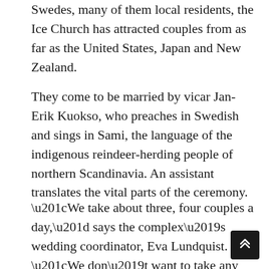Swedes, many of them local residents, the Ice Church has attracted couples from as far as the United States, Japan and New Zealand.
They come to be married by vicar Jan-Erik Kuokso, who preaches in Swedish and sings in Sami, the language of the indigenous reindeer-herding people of northern Scandinavia. An assistant translates the vital parts of the ceremony.
“We take about three, four couples a day,” says the complex’s wedding coordinator, Eva Lundquist. “We don’t want to take any more than that. We don’t want it to become a factory, or some kind of Las Vegas thing.”